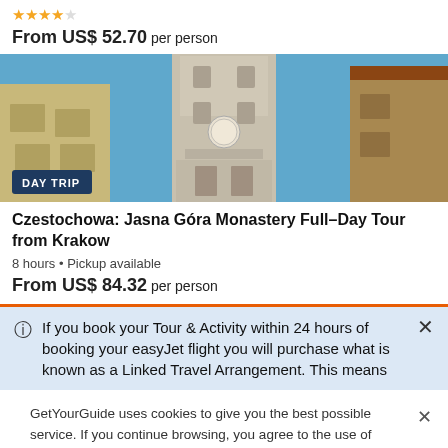★★★★☆
From US$ 52.70 per person
[Figure (photo): Photo of a tall clock tower/church tower in a European city, viewed from below between buildings, against a bright blue sky. Includes a 'DAY TRIP' badge overlay.]
Czestochowa: Jasna Góra Monastery Full–Day Tour from Krakow
8 hours • Pickup available
From US$ 84.32 per person
If you book your Tour & Activity within 24 hours of booking your easyJet flight you will purchase what is known as a Linked Travel Arrangement. This means
GetYourGuide uses cookies to give you the best possible service. If you continue browsing, you agree to the use of cookies. More details can be found in our privacy policy.